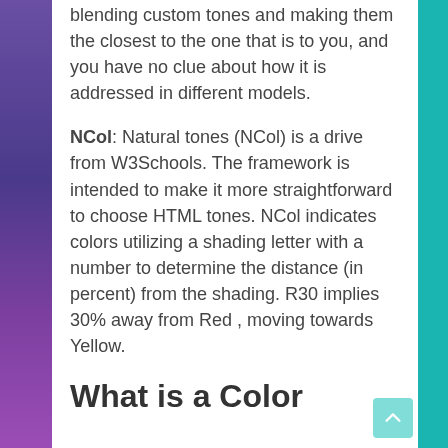blending custom tones and making them the closest to the one that is to you, and you have no clue about how it is addressed in different models.
NCol: Natural tones (NCol) is a drive from W3Schools. The framework is intended to make it more straightforward to choose HTML tones. NCol indicates colors utilizing a shading letter with a number to determine the distance (in percent) from the shading. R30 implies 30% away from Red , moving towards Yellow.
What is a Color